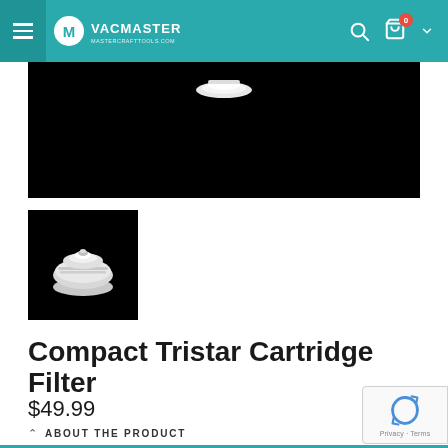VACMASTER
[Figure (photo): Main product image on black background — Compact Tristar Cartridge Filter, white circular filter component partially visible at top]
[Figure (photo): Thumbnail image on black background — white circular Compact Tristar Cartridge Filter]
Compact Tristar Cartridge Filter
$49.99
ABOUT THE PRODUCT